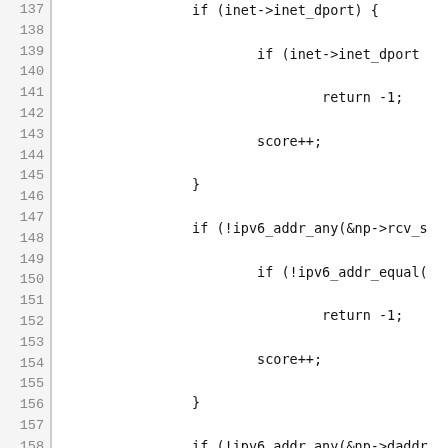[Figure (screenshot): Source code listing in monospace font showing C code lines 137-167, with line numbers on the left side bar. Code includes nested if statements checking inet_dport, ipv6_addr_any, sk_bound_dev_if, a closing brace, return score, and a new function compute_score2 definition with #define SCORE2_MAX.]